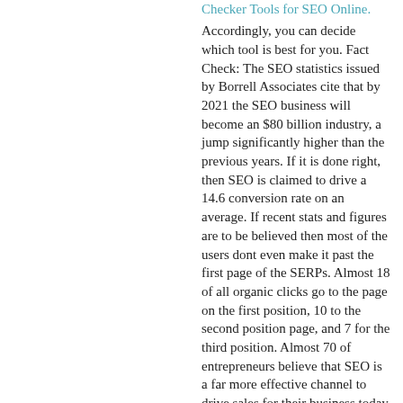Checker Tools for SEO Online.
Accordingly, you can decide which tool is best for you. Fact Check: The SEO statistics issued by Borrell Associates cite that by 2021 the SEO business will become an $80 billion industry, a jump significantly higher than the previous years. If it is done right, then SEO is claimed to drive a 14.6 conversion rate on an average. If recent stats and figures are to be believed then most of the users dont even make it past the first page of the SERPs. Almost 18 of all organic clicks go to the page on the first position, 10 to the second position page, and 7 for the third position. Almost 70 of entrepreneurs believe that SEO is a far more effective channel to drive sales for their business today than PPC. Pro-Tip: The first thing you need to make sure is the number of keywords that your rank checker